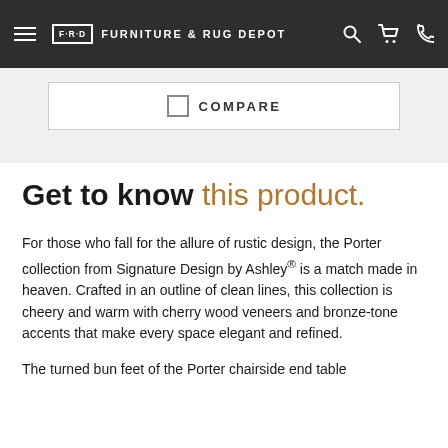F·R·D FURNITURE & RUG DEPOT
[Figure (screenshot): Compare checkbox UI element with 'COMPARE' label inside a bordered white box on a light gray background]
Get to know this product.
For those who fall for the allure of rustic design, the Porter collection from Signature Design by Ashley® is a match made in heaven. Crafted in an outline of clean lines, this collection is cheery and warm with cherry wood veneers and bronze-tone accents that make every space elegant and refined.
The turned bun feet of the Porter chairside end table add something traditional design to the aesthetic and of